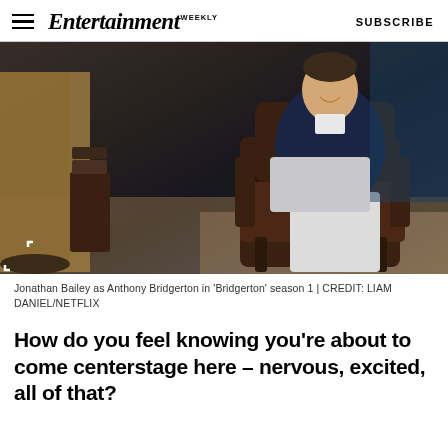Entertainment Weekly  SUBSCRIBE
[Figure (photo): Jonathan Bailey as Anthony Bridgerton sitting in a leather armchair in a period-set room, wearing a navy velvet jacket and white trousers, smiling and leaning back casually. Another figure in tan clothing is visible on the left.]
Jonathan Bailey as Anthony Bridgerton in 'Bridgerton' season 1 | CREDIT: LIAM DANIEL/NETFLIX
How do you feel knowing you're about to come centerstage here – nervous, excited, all of that?